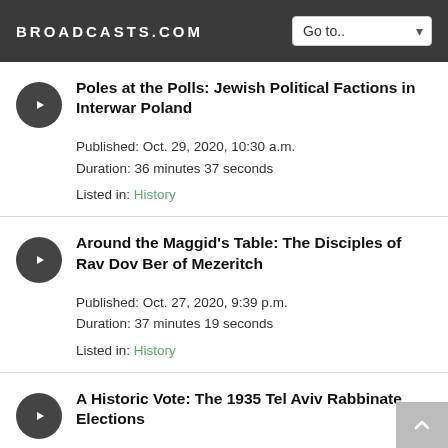BROADCASTS.COM
Poles at the Polls: Jewish Political Factions in Interwar Poland
Published: Oct. 29, 2020, 10:30 a.m.
Duration: 36 minutes 37 seconds
Listed in: History
Around the Maggid's Table: The Disciples of Rav Dov Ber of Mezeritch
Published: Oct. 27, 2020, 9:39 p.m.
Duration: 37 minutes 19 seconds
Listed in: History
A Historic Vote: The 1935 Tel Aviv Rabbinate Elections
Published: Oct. 24, 2020, 11:59 p.m.
Duration: 36 minutes 12 seconds